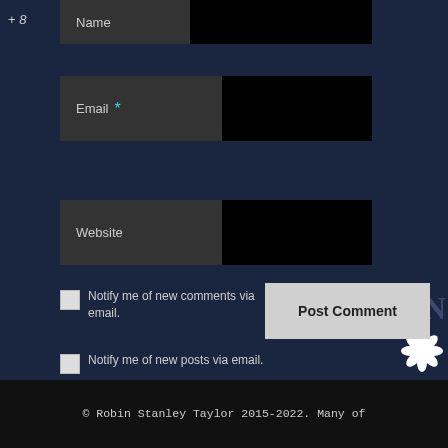[Figure (screenshot): Web comment form with Name, Email, Website fields, two checkboxes for email notifications, and a Post Comment button]
Name
Email *
Website
Notify me of new comments via email.
Notify me of new posts via email.
Post Comment
© Robin Stanley Taylor 2015-2022. Many of